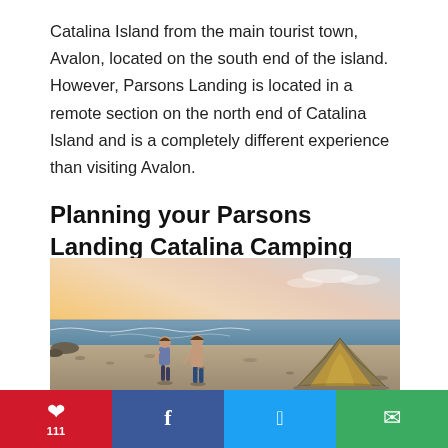Catalina Island from the main tourist town, Avalon, located on the south end of the island. However, Parsons Landing is located in a remote section on the north end of Catalina Island and is a completely different experience than visiting Avalon.
Planning your Parsons Landing Catalina Camping Trip:
[Figure (photo): Two people walking on a rocky beach at sunset with a camping tent on the right side. The sky shows an orange and pink sunset gradient with the ocean in the background.]